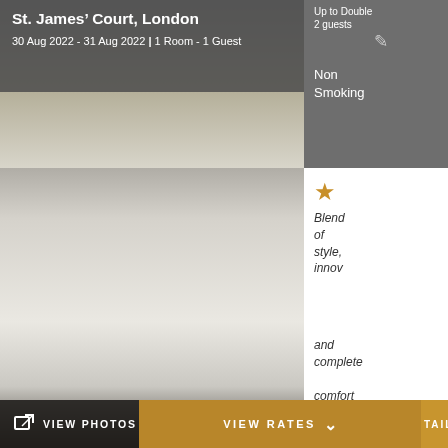St. James' Court, London
30 Aug 2022 - 31 Aug 2022 | 1 Room - 1 Guest
Up to Double 2 guests
Non Smoking
[Figure (photo): Hotel room photo - interior view, mostly white/neutral tones]
Blend of style, innovation and complete comfort
£ 359*
Starting Rate/Night
VIEW PHOTOS (3)
VIEW RATES
DETAILS
[Figure (photo): Second hotel room photo - light grey tones]
Premium King